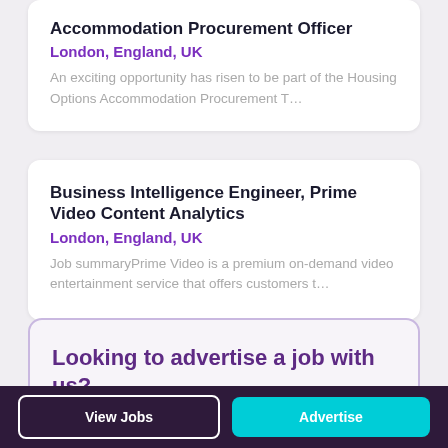Accommodation Procurement Officer
London, England, UK
An exciting opportunity has risen to be part of the Housing Options Accommodation Procurement T…
Business Intelligence Engineer, Prime Video Content Analytics
London, England, UK
Job summaryPrime Video is a premium on-demand video entertainment service that offers customers t…
Looking to advertise a job with us?
View Jobs
Advertise